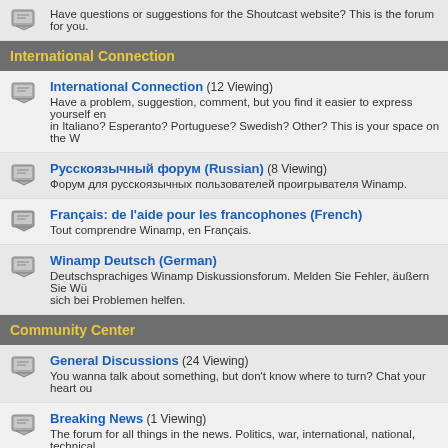Have questions or suggestions for the Shoutcast website? This is the forum for you.
International Connection
International Connection (12 Viewing) - Have a problem, suggestion, comment, but you find it easier to express yourself en in Italiano? Esperanto? Portuguese? Swedish? Other? This is your space on the W
Русскоязычный форум (Russian) (8 Viewing) - Форум для русскоязычных пользователей проигрывателя Winamp.
Français: de l'aide pour les francophones (French) - Tout comprendre Winamp, en Français.
Winamp Deutsch (German) - Deutschsprachiges Winamp Diskussionsforum. Melden Sie Fehler, äußern Sie Wü sich bei Problemen helfen.
Community Center
General Discussions (24 Viewing) - You wanna talk about something, but don't know where to turn? Chat your heart ou
Breaking News (1 Viewing) - The forum for all things in the news. Politics, war, international, national, technical, news that's fit to blab about. Now more than before.
Music O'Rama (3 Viewing) - All music all the time. For musicians and fans and critics and engineers and audiop who's ever wanted to make a loud noise by strumming, blowing or hitting something
Games Center (4 Viewing)